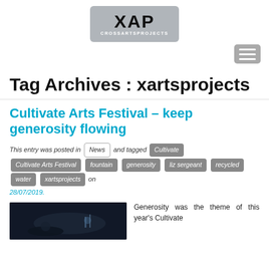[Figure (logo): XAP CrossArtsProjects logo on grey rounded rectangle background]
[Figure (other): Hamburger/menu icon button (three horizontal white lines on grey rounded rectangle)]
Tag Archives : xartsprojects
Cultivate Arts Festival – keep generosity flowing
This entry was posted in News and tagged Cultivate, Cultivate Arts Festival, fountain, generosity, liz sergeant, recycled, water, xartsprojects on 28/07/2019.
[Figure (photo): Dark photo of art installation at night]
Generosity was the theme of this year's  Cultivate